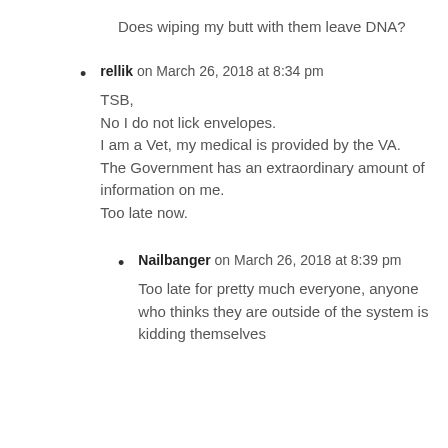Does wiping my butt with them leave DNA?
rellik on March 26, 2018 at 8:34 pm
TSB,
No I do not lick envelopes.
I am a Vet, my medical is provided by the VA.
The Government has an extraordinary amount of information on me.
Too late now.
Nailbanger on March 26, 2018 at 8:39 pm
Too late for pretty much everyone, anyone who thinks they are outside of the system is kidding themselves